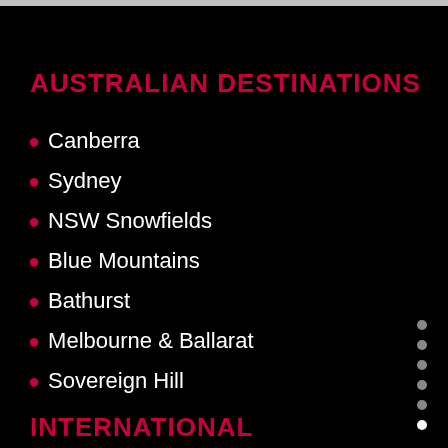AUSTRALIAN DESTINATIONS
Canberra
Sydney
NSW Snowfields
Blue Mountains
Bathurst
Melbourne & Ballarat
Sovereign Hill
INTERNATIONAL DESTINATIONS